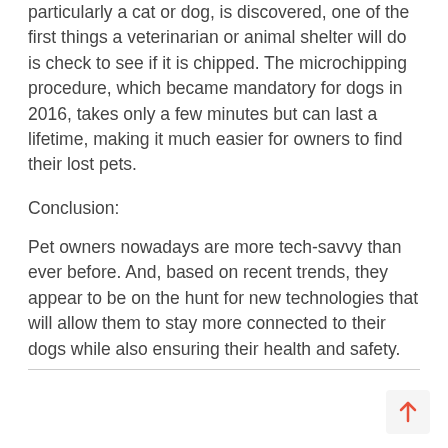particularly a cat or dog, is discovered, one of the first things a veterinarian or animal shelter will do is check to see if it is chipped. The microchipping procedure, which became mandatory for dogs in 2016, takes only a few minutes but can last a lifetime, making it much easier for owners to find their lost pets.
Conclusion:
Pet owners nowadays are more tech-savvy than ever before. And, based on recent trends, they appear to be on the hunt for new technologies that will allow them to stay more connected to their dogs while also ensuring their health and safety.